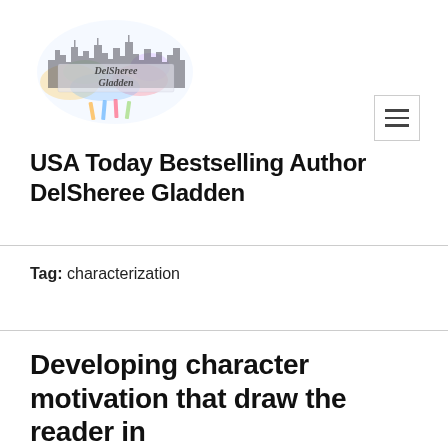[Figure (logo): DelSheree Gladden author logo with colorful watercolor city skyline and handwritten script text]
USA Today Bestselling Author DelSheree Gladden
Tag: characterization
Developing character motivation that draw the reader in